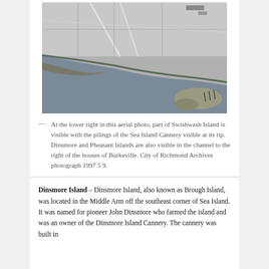[Figure (photo): Black and white aerial photograph showing fields, a river channel, Swishwash Island at the lower right with pilings of the Sea Island Cannery visible, and Dinsmore and Pheasant Islands in the channel to the right of the houses of Burkeville.]
— At the lower right in this aerial photo, part of Swishwash Island is visible with the pilings of the Sea Island Cannery visible at its tip. Dinsmore and Pheasant Islands are also visible in the channel to the right of the houses of Burkeville. City of Richmond Archives photograph 1997 5 9.
Dinsmore Island – Dinsmore Island, also known as Brough Island, was located in the Middle Arm off the southeast corner of Sea Island. It was named for pioneer John Dinsmore who farmed the island and was an owner of the Dinsmore Island Cannery. The cannery was built in